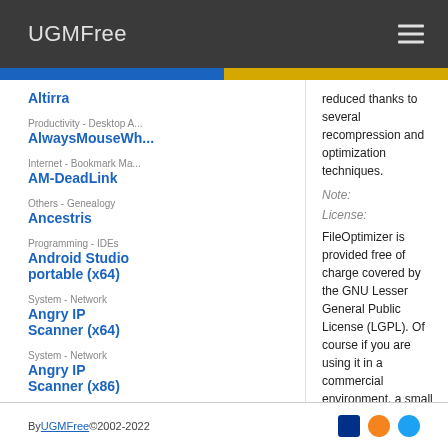UGMFree
Altirra
Productivity - Desktop A... AlwaysMouseWh...
Internet - Bookmark Ma... AM-DeadLink
Others - Genealogy Ancestris
Programming - IDEs Android Studio portable (x64)
System - Network Angry IP Scanner (x64)
System - Network Angry IP Scanner (x86)
Video - Catalogers Ant Movie Catalog
Files - Renamers
reduced thanks to several recompression and optimization techniques.
Note:
License:
FileOptimizer is provided free of charge covered by the GNU Lesser General Public License (LGPL). Of course if you are using it in a commercial environment, a small donation will be highly appreciated.
By UGMFree ©2002-2022